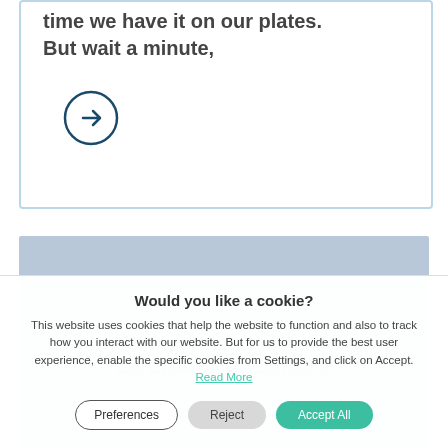time we have it on our plates. But wait a minute,
[Figure (illustration): Arrow icon inside a circle, pointing right, dark teal color]
[Figure (photo): Light blue-grey rectangular image placeholder, possibly a sky or muted landscape photo]
Circular Agriculture
Would you like a cookie? This website uses cookies that help the website to function and also to track how you interact with our website. But for us to provide the best user experience, enable the specific cookies from Settings, and click on Accept. Read More
Preferences
Reject
Accept All